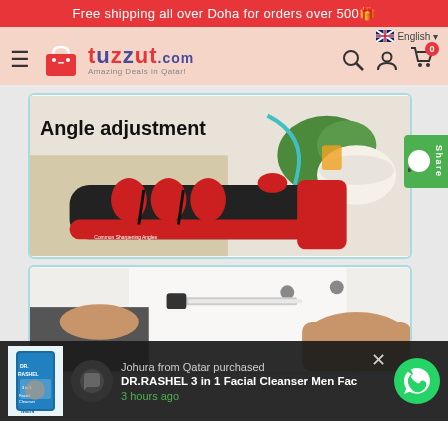Free shipping all over Doha for orders over 500🎁
[Figure (screenshot): tuzzut.com website navbar with logo, hamburger menu, search, account, cart icons and English language selector]
[Figure (photo): Kitchen knife sharpener product image with text 'Angle adjustment' and red/black sharpener tool with multiple sharpening stages shown]
[Figure (photo): Chef holding a knife against white uniform - second product card]
Johura from Qatar purchased DR.RASHEL 3 in 1 Facial Cleanser Men Fac
3 hours ago